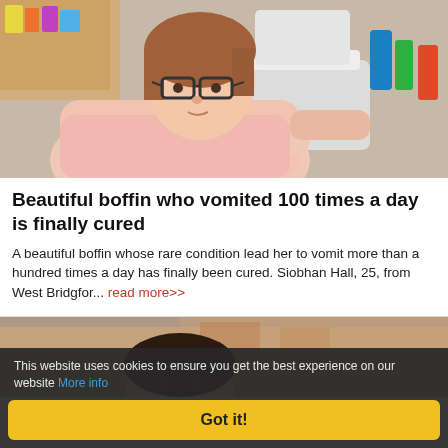[Figure (photo): Woman with glasses leaning over a toilet in a bathroom]
Beautiful boffin who vomited 100 times a day is finally cured
A beautiful boffin whose rare condition lead her to vomit more than a hundred times a day has finally been cured. Siobhan Hall, 25, from West Bridgfor... read more>>
[Figure (photo): Partial photo of a woman outdoors, partially visible at bottom of page]
This website uses cookies to ensure you get the best experience on our website More info
Got it!